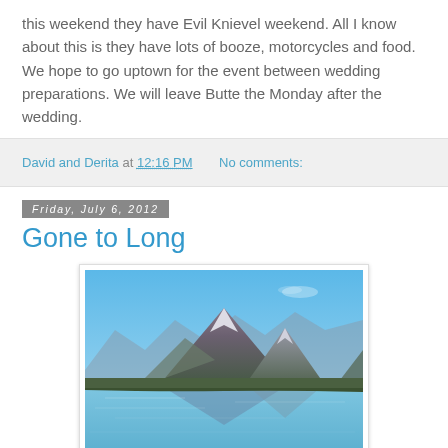this weekend they have Evil Knievel weekend. All I know about this is they have lots of booze, motorcycles and food. We hope to go uptown for the event between wedding preparations. We will leave Butte the Monday after the wedding.
David and Derita at 12:16 PM   No comments:
Friday, July 6, 2012
Gone to Long
[Figure (photo): A scenic mountain lake with blue sky, snow-capped peaks reflected in calm blue water]